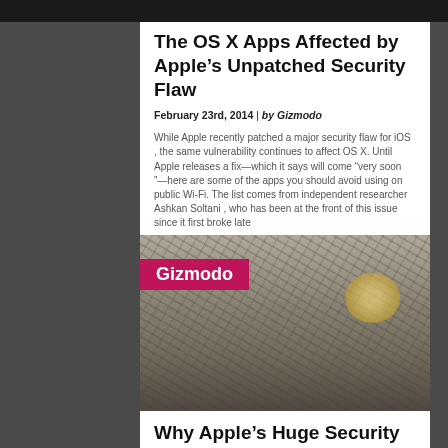The OS X Apps Affected by Apple’s Unpatched Security Flaw
February 23rd, 2014 | by Gizmodo
While Apple recently patched a major security flaw for iOS , the same vulnerability continues to affect OS X. Until Apple releases a fix—which it says will come “very soon ”—here are some of the apps you should avoid using on public Wi-Fi. The list comes from independent researcher Ashkan Soltani , who has been at the front of this issue since it first broke late
[Figure (photo): Gizmodo branded image overlay on a textured/crosshatched background photo with a golden circular element visible in the upper right area. Red Gizmodo label in upper left.]
Why Apple’s Huge Security Flaw Is So Scary